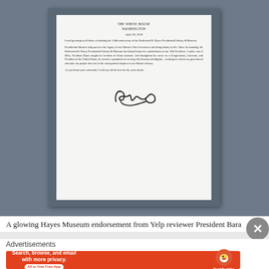[Figure (photo): A framed White House letter dated April 29, 2016, displayed behind glass in a museum case. The letter is on white paper with 'THE WHITE HOUSE WASHINGTON' letterhead, addressed to those celebrating the 150th anniversary of the Rutherford B. Hayes Presidential Library & Museum, signed with Barack Obama's signature.]
A glowing Hayes Museum endorsement from Yelp reviewer President Bara
Advertisements
[Figure (screenshot): DuckDuckGo advertisement banner: 'Search, browse, and email with more privacy. All in One Free App' with orange background and DuckDuckGo duck logo.]